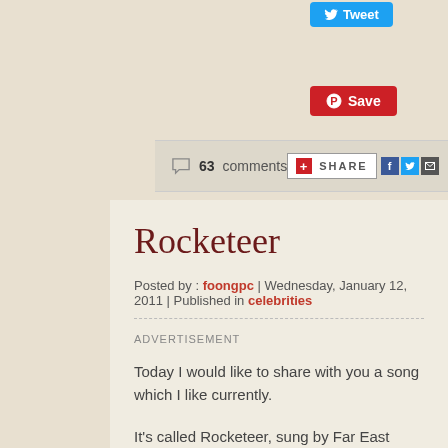[Figure (screenshot): Tweet button (blue) at top]
[Figure (screenshot): Pinterest Save button (red)]
63 comments
SHARE
Rocketeer
Posted by : foongpc | Wednesday, January 12, 2011 | Published in celebrities
ADVERTISEMENT
Today I would like to share with you a song which I like currently.
It's called Rocketeer, sung by Far East Movement featuring Ryan Tedde
Here's the video.